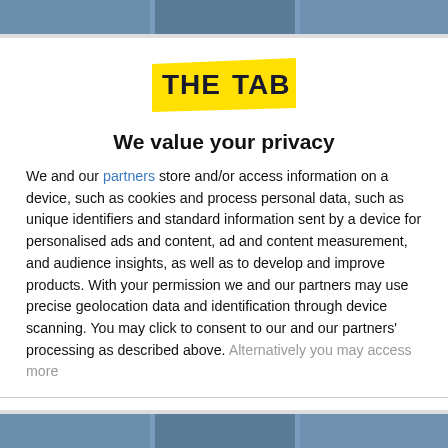[Figure (photo): Photo strip at top of page showing people, partially visible]
[Figure (logo): The Tab logo - yellow background with dark text THE TAB in bold]
We value your privacy
We and our partners store and/or access information on a device, such as cookies and process personal data, such as unique identifiers and standard information sent by a device for personalised ads and content, ad and content measurement, and audience insights, as well as to develop and improve products. With your permission we and our partners may use precise geolocation data and identification through device scanning. You may click to consent to our and our partners' processing as described above. Alternatively you may access more
AGREE
MORE OPTIONS
[Figure (photo): Photo strip at bottom of page showing people, partially visible]